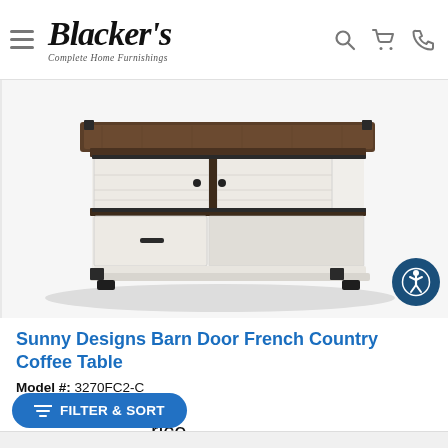Blacker's Complete Home Furnishings
[Figure (photo): Sunny Designs Barn Door French Country Coffee Table — white painted wood coffee table with dark brown wood top, sliding barn door panels with black metal hardware, and a center drawer]
Sunny Designs Barn Door French Country Coffee Table
Model #: 3270FC2-C
(0)
rice